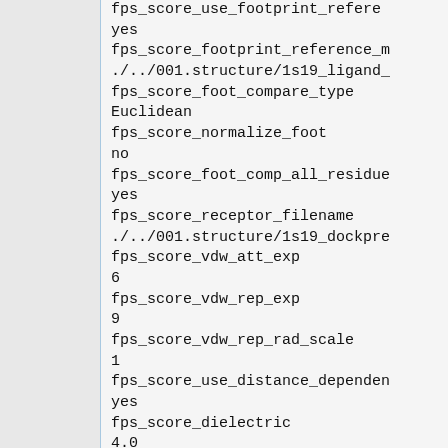fps_score_use_footprint_refere
yes
fps_score_footprint_reference_m
./../001.structure/1s19_ligand_
fps_score_foot_compare_type
Euclidean
fps_score_normalize_foot
no
fps_score_foot_comp_all_residue
yes
fps_score_receptor_filename
./../001.structure/1s19_dockpre
fps_score_vdw_att_exp
6
fps_score_vdw_rep_exp
9
fps_score_vdw_rep_rad_scale
1
fps_score_use_distance_dependen
yes
fps_score_dielectric
4.0
fps_score_vdw_fp_scale
1
fps_score_es_fp_scale